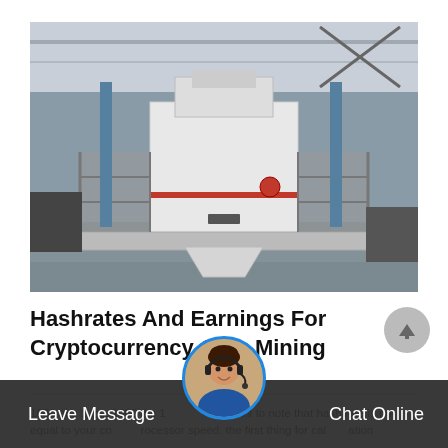[Figure (photo): Industrial crusher/mining equipment — large white machine on a metal platform inside a factory/warehouse building]
Hashrates And Earnings For Cryptocurrency Coin Mining
1000 ghs 1 ths, 1000 ths 1 … portant to note that hash rate is not equal to your computer processor speed. the first thing for calculation with … Enlarge …